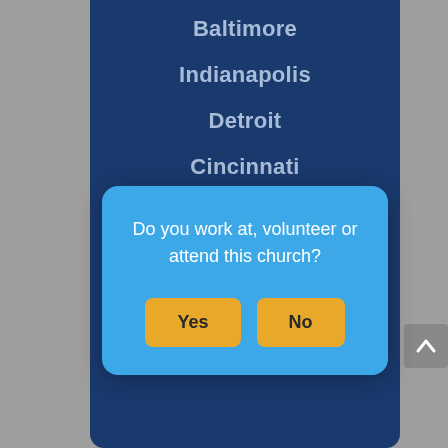Baltimore
Indianapolis
Detroit
Cincinnati
[Figure (screenshot): A modal dialog box with light blue background asking 'Do you work at, volunteer or attend this church?' with two yellow buttons labeled 'Yes' and 'No'.]
Memphis
Birmingham
Atlanta
Fort Worth